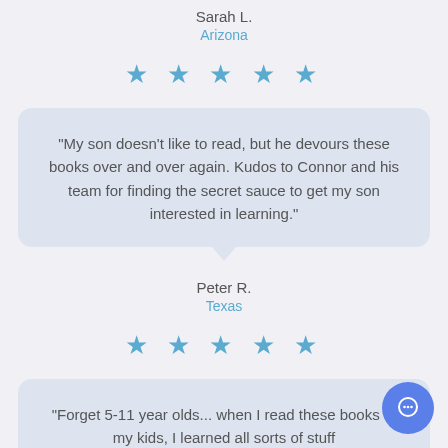Sarah L.
Arizona
[Figure (other): 5 blue star rating icons]
"My son doesn't like to read, but he devours these books over and over again. Kudos to Connor and his team for finding the secret sauce to get my son interested in learning."
Peter R.
Texas
[Figure (other): 5 blue star rating icons]
"Forget 5-11 year olds... when I read these books to my kids, I learned all sorts of stuff